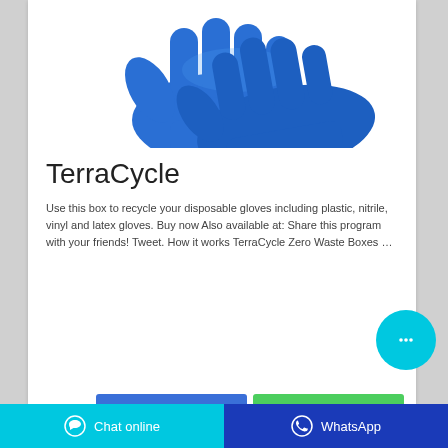[Figure (photo): Two blue nitrile/latex disposable gloves shown from above on a white background]
TerraCycle
Use this box to recycle your disposable gloves including plastic, nitrile, vinyl and latex gloves. Buy now Also available at: Share this program with your friends! Tweet. How it works TerraCycle Zero Waste Boxes …
Ask for price
WhatsApp
Chat online   WhatsApp